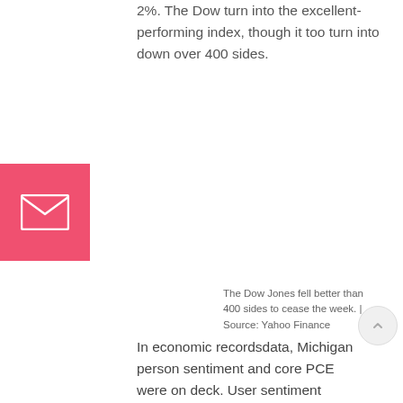2%. The Dow turn into the excellent-performing index, though it too turn into down over 400 sides.
[Figure (other): Pink/red square email icon with white envelope symbol]
The Dow Jones fell better than 400 sides to cease the week. | Source: Yahoo Finance
In economic recordsdata, Michigan person sentiment and core PCE were on deck. User sentiment demonstrated a miniature improvement from final month, while PCE (the Fed's most neatly-favored inflation indicator) undershot forecasts at 1.5% yearly.
While it turn into in a roundabout method a